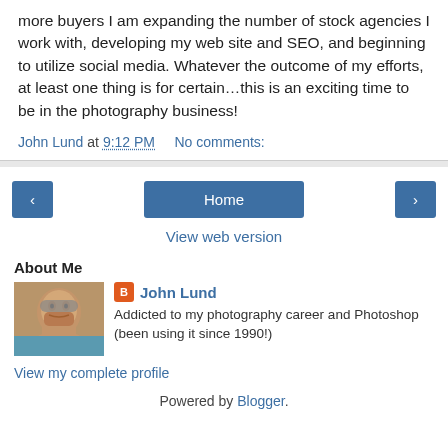more buyers I am expanding the number of stock agencies I work with, developing my web site and SEO, and beginning to utilize social media. Whatever the outcome of my efforts, at least one thing is for certain…this is an exciting time to be in the photography business!
John Lund at 9:12 PM    No comments:
[Figure (other): Navigation bar with left arrow button, Home button, and right arrow button, followed by a 'View web version' link]
About Me
[Figure (photo): Profile photo of John Lund, a bearded man]
John Lund
Addicted to my photography career and Photoshop (been using it since 1990!)
View my complete profile
Powered by Blogger.